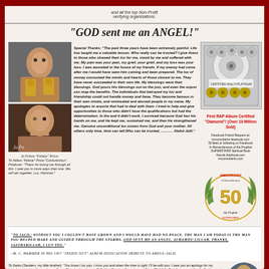and all the top Non-Profit verifying organizations.
"GOD sent me an ANGEL!"
[Figure (photo): Person holding Grammy awards]
[Figure (photo): Man with hand on face, thoughtful pose, with signature overlay]
To Felton "Felstar" Price-"Confunkshun", Producer: "Thanx for loving me through all this. I owe you in more ways than one. We will win together. Luv, Hammer."
Special Thanks: "The past three years have been extremely painful. Life has taught me a valuable lesson. Who really can be trusted? I give thanx to those who showed their luv for me, stood by me and suffered with me. My pain was your pain, my grief, your grief, and my loss was your loss. I was wounded in the house of my friends. If my enemy had come after me I would have seen him coming and been prepared. The luv of money consumed the minds and hearts of those closest to me. They have never succeeded in their own life. My blessings were their blessings. God pours His blessings out on the just, and even the unjust can reap the benefits. The individuals that betrayed my luv and friendship could not handle money and fame. They become famous in their own minds, and mistreated and abused people in my name. My apologies to anyone that had to deal with them. I tried to help and give opportunities to those who didn't have the qualifications but had the determination. In the end it didn't work. I survived because God has his hands on me, and He kept me, sustained me, and then He strengthened me. Genuine unconditional luv comes from God and your mother. All others only time, time can tell. Who can be trusted, ............ Abdul-Jalil."
[Figure (photo): Platinum/Diamond album certification plaque with multiple record images]
First RAP Album Certified "Diamond"! (Over 10 Million Sold)
Facebook Friend Request at: imothenutu.facebook.com 50 liked or following on Facebook In Remembrance of the Prophet SUPERSTARS Spiritual Book friends.facebook.com imconsultants.com
[Figure (illustration): Gold award/trophy with 50 emblem and text]
"TO JALIL: WITHOUT YOU I COULDN'T HAVE GROWN AND I WOULD HAVE HAD NO PEACE. THE MAN I AM TODAY IS THE MAN YOU HELPED MAKE AND GUIDED THROUGH THE STORMS. GOD SENT ME AN ANGEL. ALHAMDU-LILLAH. THANKS, JAZZHAKILLAH, I LUV YOU."
–M. C. HAMMER IN HIS 1997 "INSIDE OUT" ALBUM DEDICATION TRIBUTE TO ABDUL-JALIL
To Deion (Sanders, my little brother): "You know I luv you. I miss you and when the time is right, I'll be with you. I owe you an apology for my introducing you to the madness. Sorry, I'll make it up to you. B.G. I luv Cousins, Deondre and Drian (Pinki) Jr. Together a great family. By the most...
[Figure (photo): Circular photo of person]